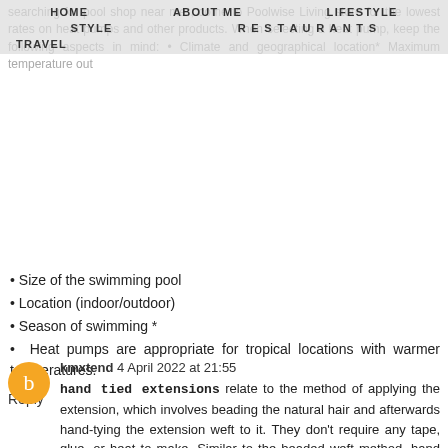HOME   ABOUT ME   LIFESTYLE   STYLE   RESTAURANTS   TRAVEL
searching for pool shop near me , come to Poolwise Living store for the lowest rates on heat pumps and other products. When selecting a heat pump, keep the following aspects in mind: • Climate and geographical location* Maximum temperature out
• Size of the swimming pool
• Location (indoor/outdoor)
• Season of swimming *
• Heat pumps are appropriate for tropical locations with warmer temperatures.
Reply
kmxtend  4 April 2022 at 21:55
hand tied extensions relate to the method of applying the extension, which involves beading the natural hair and afterwards hand-tying the extension weft to it. They don't require any tape, glue, or heat to make. Similar to the beaded weft method, hand tied extensions are made by attaching beads to a row of a customer's natural hair.